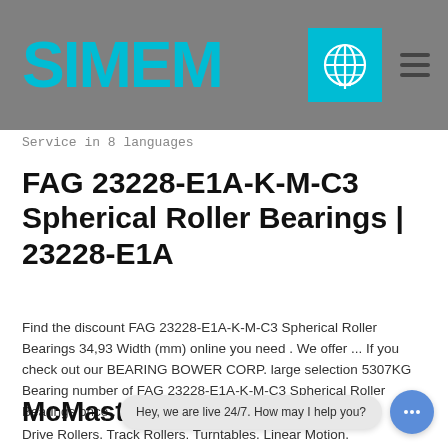SIMEM
Service in 8 languages
FAG 23228-E1A-K-M-C3 Spherical Roller Bearings | 23228-E1A
Find the discount FAG 23228-E1A-K-M-C3 Spherical Roller Bearings 34,93 Width (mm) online you need . We offer ... If you check out our BEARING BOWER CORP. large selection 5307KG Bearing number of FAG 23228-E1A-K-M-C3 Spherical Roller Bearings once .
McMaster-
Drive Rollers. Track Rollers. Turntables. Linear Motion.
Hey, we are live 24/7. How may I help you?